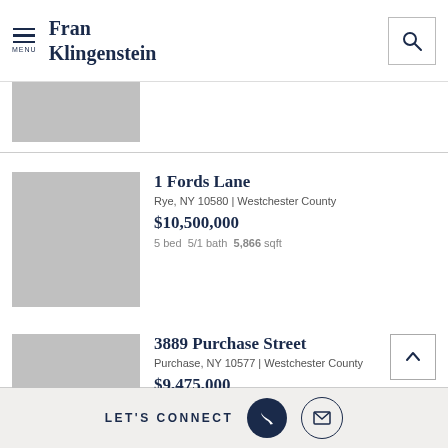Fran Klingenstein
[Figure (photo): Partial property thumbnail image (gray placeholder), top listing cut off]
1 Fords Lane
Rye, NY 10580 | Westchester County
$10,500,000
5 bed  5/1 bath  5,866 sqft
[Figure (photo): Property thumbnail image (gray placeholder) for 1 Fords Lane]
3889 Purchase Street
Purchase, NY 10577 | Westchester County
$9,475,000
6 bed  8/2 bath  12,018 sqft
[Figure (photo): Property thumbnail image (gray placeholder) for 3889 Purchase Street]
LET'S CONNECT